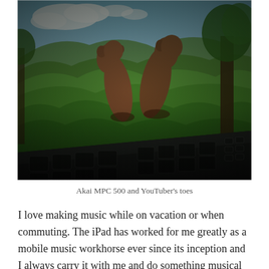[Figure (photo): Photo of an Akai MPC 500 music production device in the foreground (dark, with pads and buttons visible), with a person's bare feet/toes raised up in the background, surrounded by lush green tropical hillside landscape and blue sky with clouds.]
Akai MPC 500 and YouTuber's toes
I love making music while on vacation or when commuting. The iPad has worked for me greatly as a mobile music workhorse ever since its inception and I always carry it with me and do something musical with it. Sometimes it's too much like a